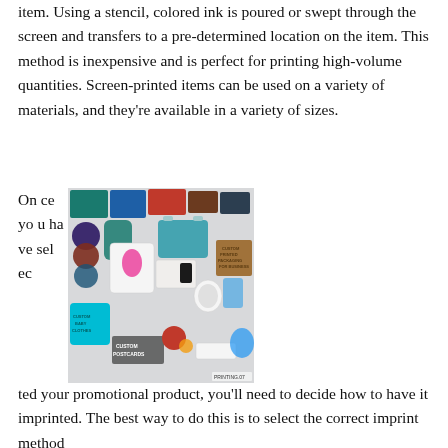item. Using a stencil, colored ink is poured or swept through the screen and transfers to a pre-determined location on the item. This method is inexpensive and is perfect for printing high-volume quantities. Screen-printed items can be used on a variety of materials, and they're available in a variety of sizes.
Once you have selected your promotional product, you'll need to decide how to have it imprinted. The best way to do this is to select the correct imprint method
[Figure (photo): A flat lay of various custom printed promotional products including hats, t-shirts, bags, mugs, postcards, patches, baby onesie labeled 'Custom Baby Clothes', a card labeled 'Custom Printed Packaging for Business', and other branded merchandise items.]